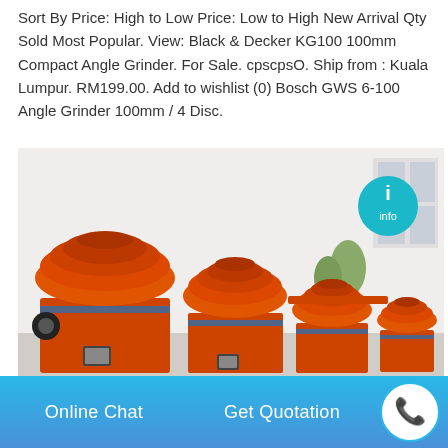Sort By Price: High to Low Price: Low to High New Arrival Qty Sold Most Popular. View: Black & Decker KG100 100mm Compact Angle Grinder. For Sale. cpscpsO. Ship from : Kuala Lumpur. RM199.00. Add to wishlist (0) Bosch GWS 6-100 Angle Grinder 100mm / 4 Disc.
[Figure (photo): Multiple large orange industrial cone/bowl-shaped grinder machines lined up outdoors in front of a white building. The machines have blue straps around them and vary in size from large in the foreground to smaller in the background. A teal circular icon/badge is visible on the upper right of the image.]
Online Chat    Get Quotation